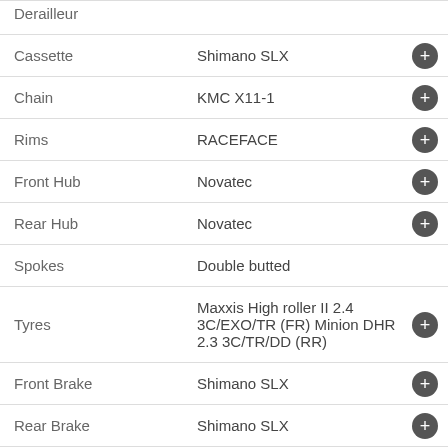| Component | Specification |
| --- | --- |
| Derailleur |  |
| Cassette | Shimano SLX |
| Chain | KMC X11-1 |
| Rims | RACEFACE |
| Front Hub | Novatec |
| Rear Hub | Novatec |
| Spokes | Double butted |
| Tyres | Maxxis High roller II 2.4 3C/EXO/TR (FR) Minion DHR 2.3 3C/TR/DD (RR) |
| Front Brake | Shimano SLX |
| Rear Brake | Shimano SLX |
| Handlebars | Nukeproof Horizon alloy |
| Stem | Nukeproof Neutron |